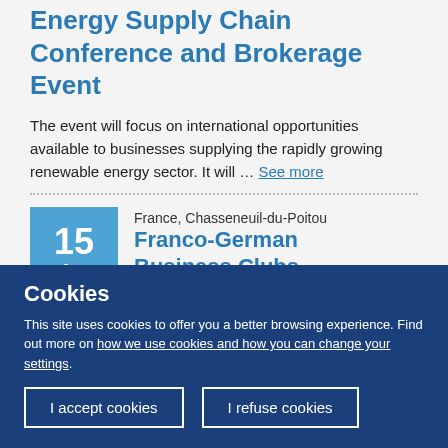Global Renewable Energy Supply Chain Conference and Brokerage Event
The event will focus on international opportunities available to businesses supplying the rapidly growing renewable energy sector. It will ... See more
France, Chasseneuil-du-Poitou
Franco-German Business Clubs
Congress in Poitiers 2019
Cookies
This site uses cookies to offer you a better browsing experience. Find out more on how we use cookies and how you can change your settings.
I accept cookies
I refuse cookies